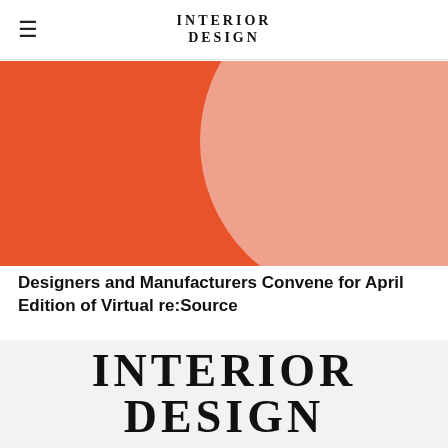INTERIOR DESIGN
[Figure (illustration): Orange/coral background with large light pink circle partially visible on the right side — abstract graphic design for article thumbnail]
Designers and Manufacturers Convene for April Edition of Virtual re:Source
INTERIOR DESIGN